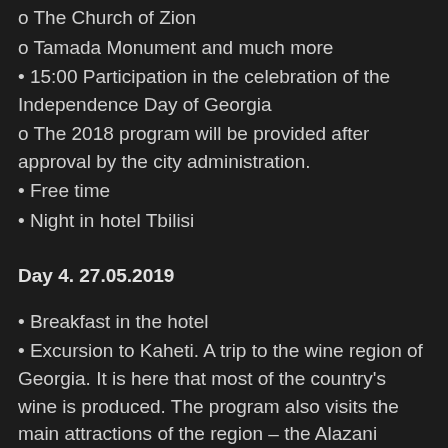o The Church of Zion
o Tamada Monument and much more
• 15:00 Participation in the celebration of the Independence Day of Georgia
o The 2018 program will be provided after approval by the city administration.
• Free time
• Night in hotel Tbilisi
Day 4. 27.05.2019
• Breakfast in the hotel
• Excursion to Kaheti. A trip to the wine region of Georgia. It is here that most of the country's wine is produced. The program also visits the main attractions of the region – the Alazani Valley and the city of Signagi.
• Second breakfast during an excursion to Kakheti
• This city is saturated with the aroma of love and is